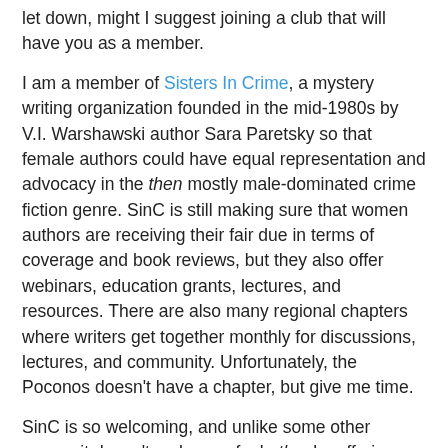let down, might I suggest joining a club that will have you as a member.
I am a member of Sisters In Crime, a mystery writing organization founded in the mid-1980s by V.I. Warshawski author Sara Paretsky so that female authors could have equal representation and advocacy in the then mostly male-dominated crime fiction genre. SinC is still making sure that women authors are receiving their fair due in terms of coverage and book reviews, but they also offer webinars, education grants, lectures, and resources. There are also many regional chapters where writers get together monthly for discussions, lectures, and community. Unfortunately, the Poconos doesn't have a chapter, but give me time.
SinC is so welcoming, and unlike some other groups it doesn't make you feel other by offering different membership tiers based on your publishing status. There are indie, trad-published, and querying authors all working toward their goals of making dents in publishing. And helping each other to boot.